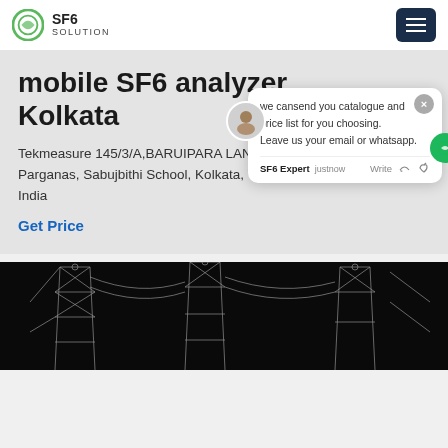SF6 SOLUTION
mobile SF6 analyzer Kolkata
Tekmeasure 145/3/A,BARUIPARA LANE, 24 Parganas, Sabujbithi School, Kolkata, West Bengal, India
Get Price
[Figure (screenshot): Chat popup overlay with message: 'we cansend you catalogue and price list for you choosing. Leave us your email or whatsapp.' Footer shows 'SF6 Expert justnow' with Write, thumbs up, and paperclip icons. Green chat button with badge '1' visible on right.]
[Figure (photo): Dark image of industrial electrical infrastructure / power transmission equipment with white wire-frame overlay of towers and cables.]